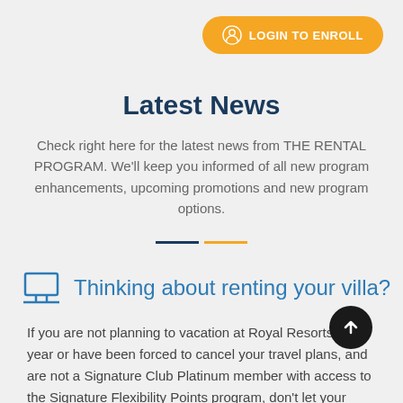[Figure (other): Orange LOGIN TO ENROLL button with user icon]
Latest News
Check right here for the latest news from THE RENTAL PROGRAM. We'll keep you informed of all new program enhancements, upcoming promotions and new program options.
Thinking about renting your villa?
If you are not planning to vacation at Royal Resorts this year or have been forced to cancel your travels, and are not a Signature Club Platinum member with access to the Signature Flexibility Points program, don't let your